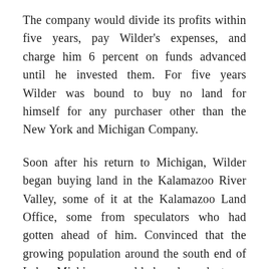The company would divide its profits within five years, pay Wilder's expenses, and charge him 6 percent on funds advanced until he invested them. For five years Wilder was bound to buy no land for himself for any purchaser other than the New York and Michigan Company.
Soon after his return to Michigan, Wilder began buying land in the Kalamazoo River Valley, some of it at the Kalamazoo Land Office, some from speculators who had gotten ahead of him. Convinced that the growing population around the south end of Lake Michigan would be dependent on Michigan pine lumber for many years, his purpose was to acquire as many acres of pine lands as his authorization permitted. With pine lumber selling at $17 per thousand in